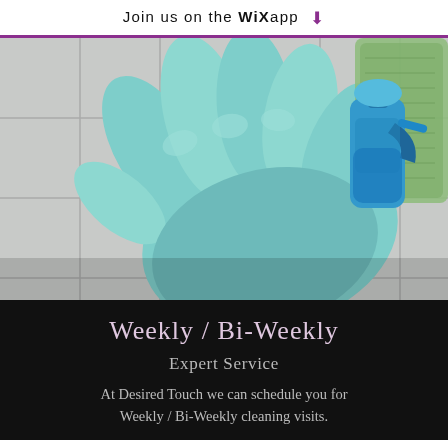Join us on the WiX app ⬇
[Figure (photo): Cleaning supplies on white tile: teal rubber gloves, blue spray bottle, green scrubbing pad]
Weekly / Bi-Weekly
Expert Service
At Desired Touch we can schedule you for Weekly/Bi-Weekly cleaning visits.